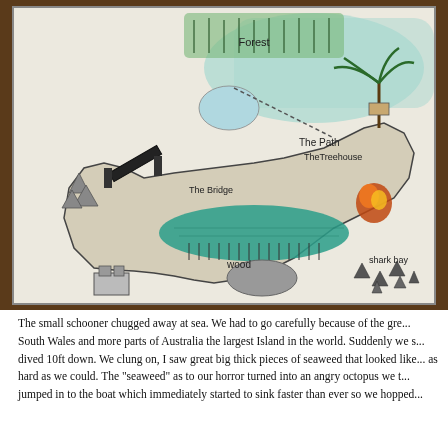[Figure (illustration): A child's hand-drawn map on paper photographed on a wooden surface. The map shows an island with labeled features including 'Forest' at the top, 'The Path', 'TheTreehouse', 'The Bridge', 'wood', 'shark bay' and sharks drawn in water, a teal/green colored lake or sea area, a bridge structure, trees at top right, and fire/explosion at right. The map is drawn in pencil and colored pencil on white paper with fold lines visible.]
The small schooner chugged away at sea. We had to go carefully because of the gre... South Wales and more parts of Australia the largest Island in the world. Suddenly we s... dived 10ft down. We clung on, I saw great big thick pieces of seaweed that looked like... as hard as we could. The "seaweed" as to our horror turned into an angry octopus we t... jumped in to the boat which immediately started to sink faster than ever so we hopped...